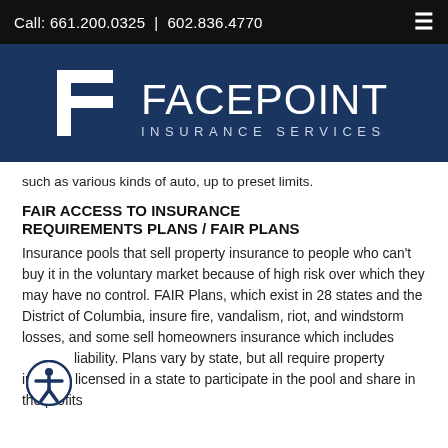Call: 661.200.0325  |  602.836.4770
[Figure (logo): Facepoint Insurance Services logo — white stylized F mark on navy background with company name]
such as various kinds of auto, up to preset limits.
FAIR ACCESS TO INSURANCE REQUIREMENTS PLANS / FAIR PLANS
Insurance pools that sell property insurance to people who can't buy it in the voluntary market because of high risk over which they may have no control. FAIR Plans, which exist in 28 states and the District of Columbia, insure fire, vandalism, riot, and windstorm losses, and some sell homeowners insurance which includes liability. Plans vary by state, but all require property insurers licensed in a state to participate in the pool and share in the profits